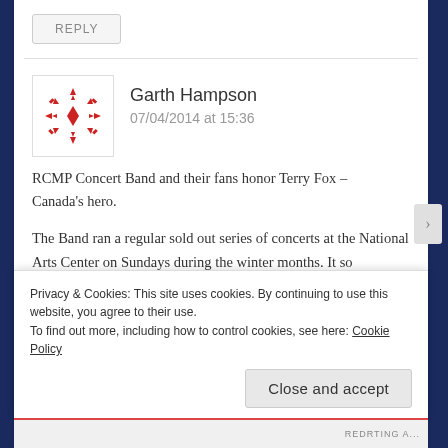REPLY
[Figure (illustration): Red geometric snowflake/pattern avatar for user Garth Hampson]
Garth Hampson
07/04/2014 at 15:36
RCMP Concert Band and their fans honor Terry Fox – Canada's hero.
The Band ran a regular sold out series of concerts at the National Arts Center on Sundays during the winter months. It so happened that our Feb. concert a few months after he was obliged to return home, happened on Valentines Day, Feb. 14th, 1982. I purchased one of the very large birthday cards
Privacy & Cookies: This site uses cookies. By continuing to use this website, you agree to their use.
To find out more, including how to control cookies, see here: Cookie Policy
Close and accept